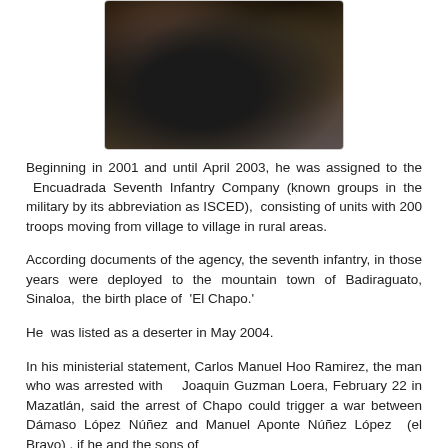[Figure (photo): Dark photograph showing hands holding an object, with dark tones and military/combat context]
Beginning in 2001 and until April 2003, he was assigned to the Encuadrada Seventh Infantry Company (known groups in the military by its abbreviation as ISCED), consisting of units with 200 troops moving from village to village in rural areas.
According documents of the agency, the seventh infantry, in those years were deployed to the mountain town of Badiraguato, Sinaloa, the birth place of 'El Chapo.'
He was listed as a deserter in May 2004.
In his ministerial statement, Carlos Manuel Hoo Ramirez, the man who was arrested with Joaquin Guzman Loera, February 22 in Mazatlán, said the arrest of Chapo could trigger a war between Dámaso López Núñez and Manuel Aponte Núñez López (el Bravo) , if he and the sons of